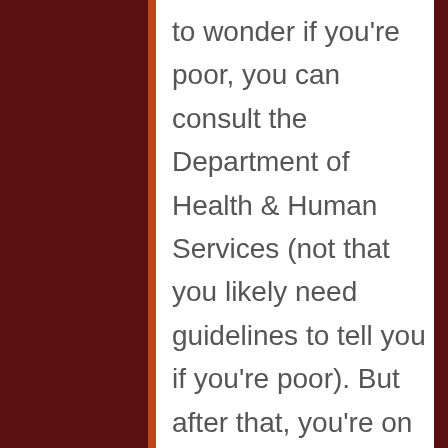to wonder if you're poor, you can consult the Department of Health & Human Services (not that you likely need guidelines to tell you if you're poor). But after that, you're on your own to decide if you're lower middle class, middle class, upper middle class or in the fabulously wealthy